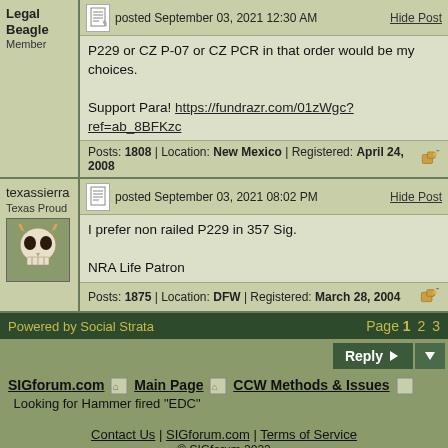posted September 03, 2021 12:30 AM
P229 or CZ P-07 or CZ PCR in that order would be my choices.

Support Para! https://fundrazr.com/01zWgc?ref=ab_8BFKzc
Posts: 1808 | Location: New Mexico | Registered: April 24, 2008
posted September 03, 2021 08:02 PM
I prefer non railed P229 in 357 Sig.

NRA Life Patron
Posts: 1875 | Location: DFW | Registered: March 28, 2004
Powered by Social Strata
Page 1 2 3
Reply
SIGforum.com  Main Page  CCW Methods & Issues
Looking for Hammer fired "EDC"
Contact Us | SIGforum.com | Terms of Service
© SIGforum 2022